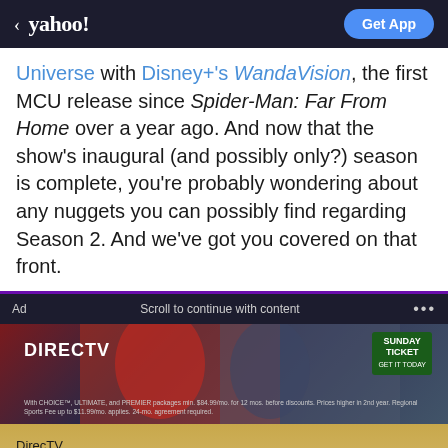< yahoo!  Get App
Universe with Disney+'s WandaVision, the first MCU release since Spider-Man: Far From Home over a year ago. And now that the show's inaugural (and possibly only?) season is complete, you're probably wondering about any nuggets you can possibly find regarding Season 2. And we've got you covered on that front.
Ad  Scroll to continue with content  ...
[Figure (photo): DirecTV Sunday Ticket advertisement banner showing NFL players in action, with DIRECTV logo and Sunday Ticket badge, fine print about CHOICE, ULTIMATE, and PREMIER packages]
DirecTV
NFL Sunday Ticket
Don't be left on the sidelines this season, Get